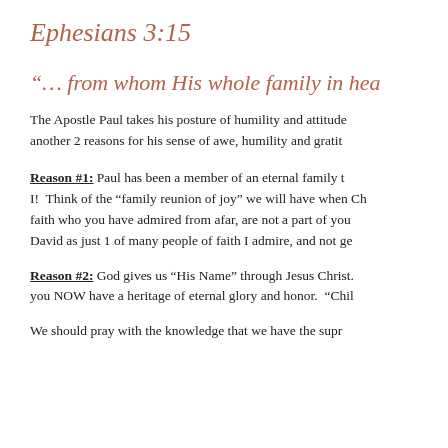Ephesians 3:15
“… from whom His whole family in hea
The Apostle Paul takes his posture of humility and attitude another 2 reasons for his sense of awe, humility and gratit
Reason #1: Paul has been a member of an eternal family t I!  Think of the “family reunion of joy” we will have when Ch faith who you have admired from afar, are not a part of you David as just 1 of many people of faith I admire, and not ge
Reason #2: God gives us “His Name” through Jesus Christ. you NOW have a heritage of eternal glory and honor.  “Chil
We should pray with the knowledge that we have the supr